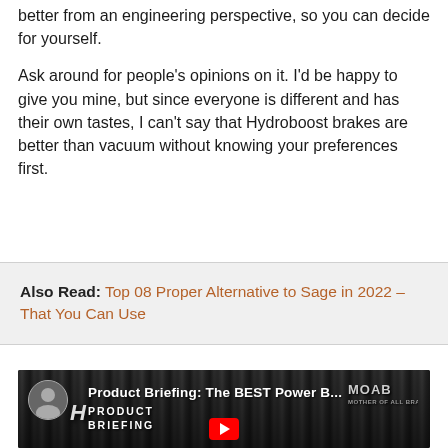better from an engineering perspective, so you can decide for yourself.
Ask around for people's opinions on it. I'd be happy to give you mine, but since everyone is different and has their own tastes, I can't say that Hydroboost brakes are better than vacuum without knowing your preferences first.
Also Read: Top 08 Proper Alternative to Sage in 2022 – That You Can Use
[Figure (screenshot): YouTube video thumbnail for 'Product Briefing: The BEST Power B...' showing an engine bay with air filters, branded with 'PRODUCT BRIEFING' text and MOAB logo. Red YouTube play button visible at bottom.]